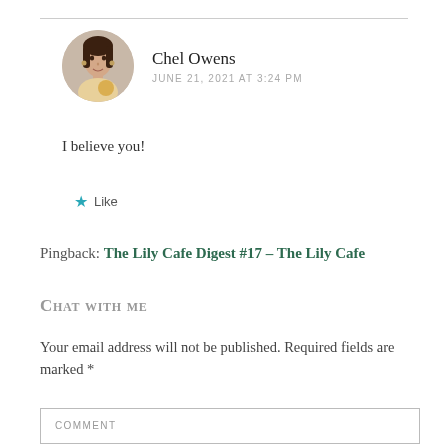[Figure (photo): Circular avatar photo of Chel Owens, a woman with dark hair]
Chel Owens
JUNE 21, 2021 AT 3:24 PM
I believe you!
★ Like
Pingback: The Lily Cafe Digest #17 – The Lily Cafe
Chat with me
Your email address will not be published. Required fields are marked *
COMMENT